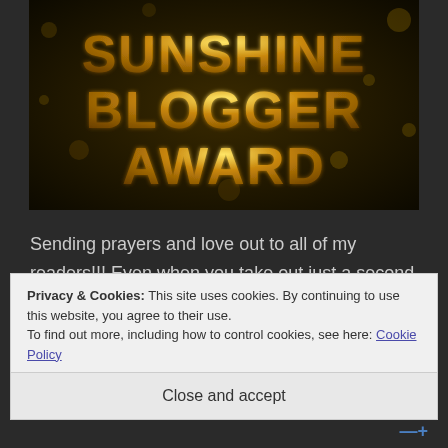[Figure (illustration): Sunshine Blogger Award logo with gold metallic text on dark bokeh background]
Sending prayers and love out to all of my readers!!! Even when you take out just a second of your time to read or comment on my post(s), I am forever grateful!!! You are awesome
Privacy & Cookies: This site uses cookies. By continuing to use this website, you agree to their use.
To find out more, including how to control cookies, see here: Cookie Policy
Close and accept